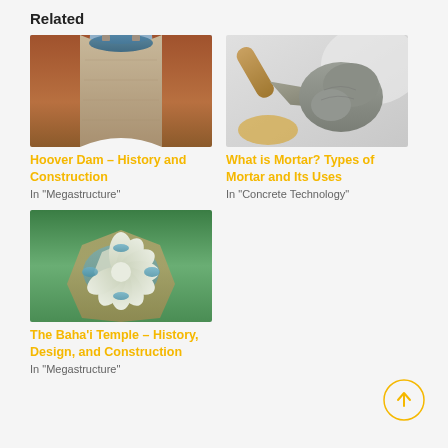Related
[Figure (photo): Aerial view of Hoover Dam construction, curved concrete dam with rocky canyon walls]
Hoover Dam – History and Construction
In "Megastructure"
[Figure (photo): Hand holding a trowel with grey mortar/cement on it against a light background]
What is Mortar? Types of Mortar and Its Uses
In "Concrete Technology"
[Figure (photo): Aerial view of the Baha'i Lotus Temple in New Delhi, white lotus-shaped structure surrounded by pools and gardens]
The Baha'i Temple – History, Design, and Construction
In "Megastructure"